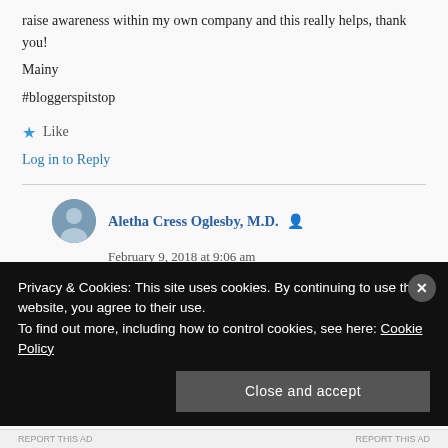raise awareness within my own company and this really helps, thank you!
Mainy
#bloggerspitstop
★ Like
Log in to Reply
Aletha Cress Oglesby, M.D. 👤
February 9, 2018 at 9:06 am
Privacy & Cookies: This site uses cookies. By continuing to use this website, you agree to their use. To find out more, including how to control cookies, see here: Cookie Policy
Close and accept